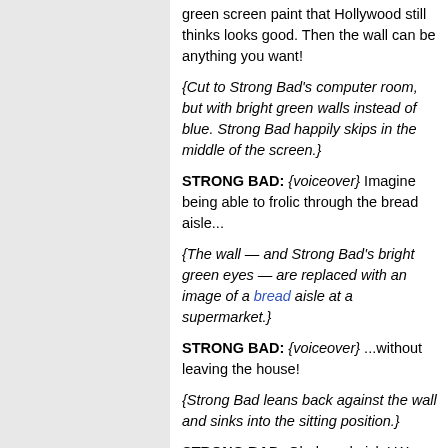green screen paint that Hollywood still thinks looks good. Then the wall can be anything you want!
{Cut to Strong Bad's computer room, but with bright green walls instead of blue. Strong Bad happily skips in the middle of the screen.}
STRONG BAD: {voiceover} Imagine being able to frolic through the bread aisle...
{The wall — and Strong Bad's bright green eyes — are replaced with an image of a bread aisle at a supermarket.}
STRONG BAD: {voiceover} ...without leaving the house!
{Strong Bad leans back against the wall and sinks into the sitting position.}
STRONG BAD: Oh, bread aisle! Warm me with your enriched, bleached bosom! And please, give me back my sight.
{Cut to another part of the computer room with